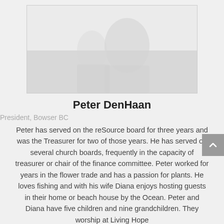[Figure (photo): Grayscale portrait photo of Peter DenHaan, faded/light toned]
Peter DenHaan
President, Bowser BC
Peter has served on the reSource board for three years and was the Treasurer for two of those years. He has served on several church boards, frequently in the capacity of treasurer or chair of the finance committee. Peter worked for years in the flower trade and has a passion for plants. He loves fishing and with his wife Diana enjoys hosting guests in their home or beach house by the Ocean. Peter and Diana have five children and nine grandchildren. They worship at Living Hope